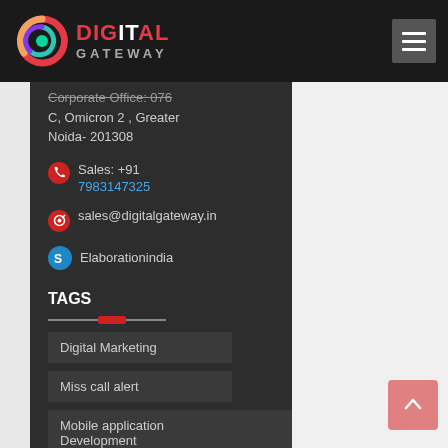[Figure (logo): Digital Gateway logo with colorful swirl icon and red/white DIGITAL GATEWAY text on dark background]
Corporate Office: 076 C, Omicron 2 , Greater Noida- 201308
Sales: +91 7983147325
sales@digitalgateway.in
Elaborationindia
TAGS
Digital Marketing
Miss call alert
Mobile application Development